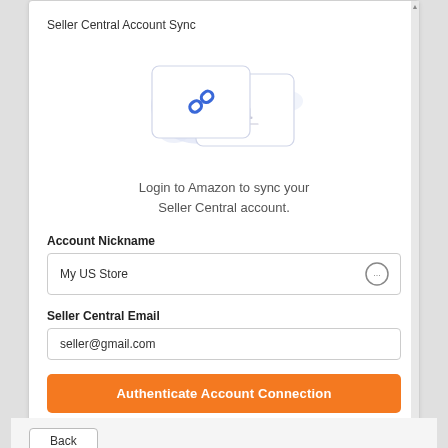Seller Central Account Sync
[Figure (illustration): Illustration of two overlapping browser window cards, one with a blue chain link icon and one with an Amazon 'a' logo, set against light blue/purple blob shapes in the background.]
Login to Amazon to sync your Seller Central account.
Account Nickname
My US Store
Seller Central Email
seller@gmail.com
Authenticate Account Connection
Having Trouble?
Back